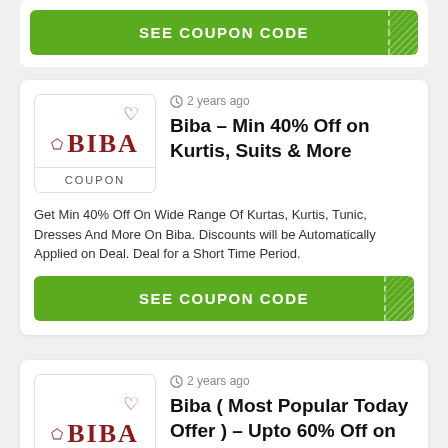[Figure (other): Green SEE COUPON CODE button at top, partially visible]
[Figure (logo): BIBA brand logo with heart icon and diamond symbol]
2 years ago
Biba – Min 40% Off on Kurtis, Suits & More
COUPON
Get  Min 40% Off  On Wide Range Of Kurtas, Kurtis, Tunic, Dresses And More On Biba. Discounts will be Automatically Applied on Deal. Deal for a Short Time Period.
[Figure (other): Green SEE COUPON CODE button]
[Figure (logo): BIBA brand logo with heart icon and diamond symbol]
2 years ago
Biba ( Most Popular Today Offer ) – Upto 60% Off on Kurtis, Suits &